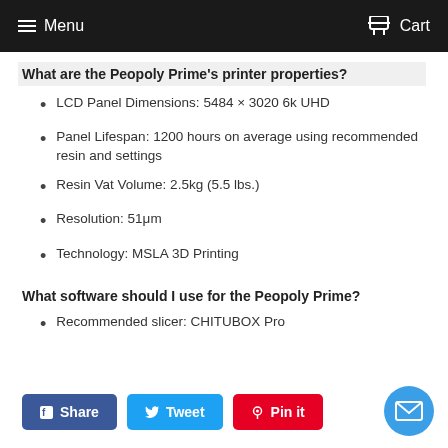Menu  Cart
What are the Peopoly Prime's printer properties?
LCD Panel Dimensions: 5484 × 3020 6k UHD
Panel Lifespan: 1200 hours on average using recommended resin and settings
Resin Vat Volume: 2.5kg (5.5 lbs.)
Resolution: 51μm
Technology: MSLA 3D Printing
What software should I use for the Peopoly Prime?
Recommended slicer: CHITUBOX Pro